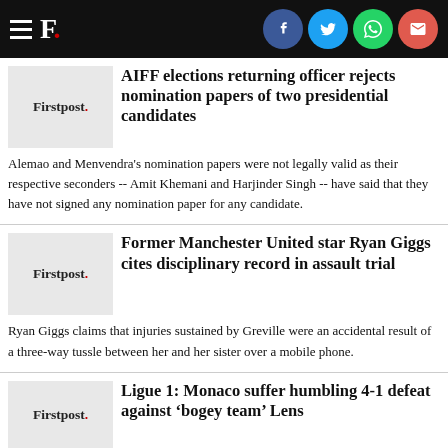Firstpost. [social icons: Facebook, Twitter, WhatsApp, Email]
[Figure (logo): Firstpost thumbnail logo on grey background]
AIFF elections returning officer rejects nomination papers of two presidential candidates
Alemao and Menvendra's nomination papers were not legally valid as their respective seconders -- Amit Khemani and Harjinder Singh -- have said that they have not signed any nomination paper for any candidate.
[Figure (logo): Firstpost thumbnail logo on grey background]
Former Manchester United star Ryan Giggs cites disciplinary record in assault trial
Ryan Giggs claims that injuries sustained by Greville were an accidental result of a three-way tussle between her and her sister over a mobile phone.
[Figure (logo): Firstpost thumbnail logo on grey background]
Ligue 1: Monaco suffer humbling 4-1 defeat against ‘bogey team’ Lens